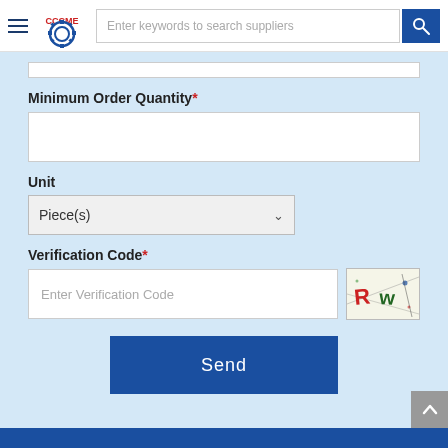[Figure (screenshot): CCCME website header with hamburger menu, logo, search bar with placeholder 'Enter keywords to search suppliers', and blue search button]
Minimum Order Quantity*
Unit
Piece(s)
Verification Code*
Enter Verification Code
[Figure (other): CAPTCHA image showing 'Rw' text with decorative lines and dots]
Send